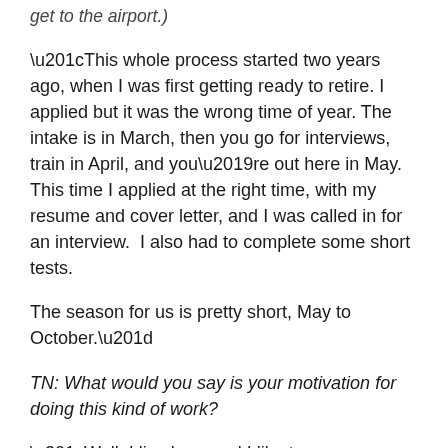get to the airport.)
“This whole process started two years ago, when I was first getting ready to retire. I applied but it was the wrong time of year. The intake is in March, then you go for interviews, train in April, and you’re out here in May. This time I applied at the right time, with my resume and cover letter, and I was called in for an interview.  I also had to complete some short tests.
The season for us is pretty short, May to October.”
TN: What would you say is your motivation for doing this kind of work?
“Well, I live here and I like to see Vancouver do well and I think Tourism is a fantastic industry and I want it to succeed. Certainly being down here greeting people gives you an appreciation for the tourism business — and it is a